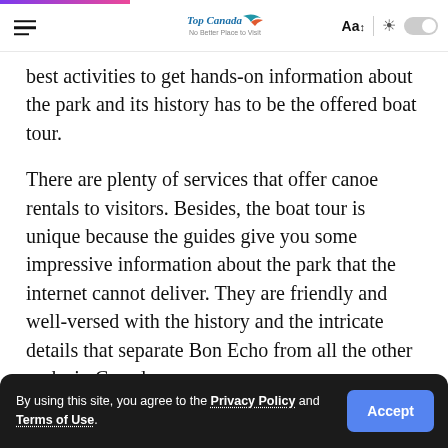Navigation bar with hamburger menu, logo, Aa font control, sun/dark mode toggle
best activities to get hands-on information about the park and its history has to be the offered boat tour.
There are plenty of services that offer canoe rentals to visitors. Besides, the boat tour is unique because the guides give you some impressive information about the park that the internet cannot deliver. They are friendly and well-versed with the history and the intricate details that separate Bon Echo from all the other parks in Canada.
However, if you're a boat owner and would love to take your ride out to Bon Echo, then you'll be pleased to know that they have a couple of docks on the site. Click here for a
By using this site, you agree to the Privacy Policy and Terms of Use.